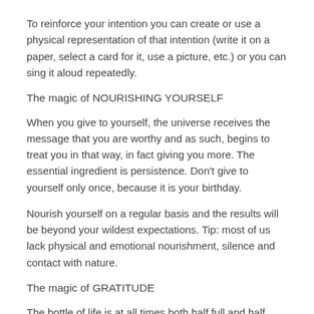To reinforce your intention you can create or use a physical representation of that intention (write it on a paper, select a card for it, use a picture, etc.) or you can sing it aloud repeatedly.
The magic of NOURISHING YOURSELF
When you give to yourself, the universe receives the message that you are worthy and as such, begins to treat you in that way, in fact giving you more. The essential ingredient is persistence. Don't give to yourself only once, because it is your birthday.
Nourish yourself on a regular basis and the results will be beyond your wildest expectations. Tip: most of us lack physical and emotional nourishment, silence and contact with nature.
The magic of GRATITUDE
The bottle of life is at all times both half full and half empty. We've become accustomed to focusing on the empty half. One of the fundamental universal laws is that you manifest in your life what you're preoccupied with. Thus, the more you concentrate on the empty half, the more of it you create.
Let's conduct an experiment, with the aim to create a different